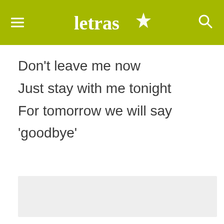letras
Don't leave me now
Just stay with me tonight
For tomorrow we will say 'goodbye'
[Figure (other): Advertisement placeholder box with light grey background]